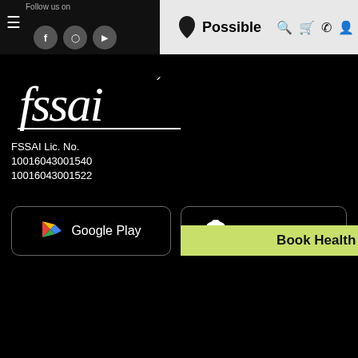Follow us on  [hamburger] [social icons] | Possible [logo] [search] [cart] [phone] [user]
[Figure (logo): FSSAI logo in white italic script on black background with underline]
FSSAI Lic. No.
10016043001540
10016043001522
[Figure (screenshot): Google Play store download button - black rounded rectangle with play triangle icon]
[Figure (screenshot): App Store download button - black rounded rectangle with Apple logo icon]
Copyright 2022 © Possible
Possible doesn't claim to cure any diseases.
Results may vary. Diet supervision is not a substitute for medical treatment.
[Figure (other): VISA and MasterCard payment icons]
Book Health Consultation